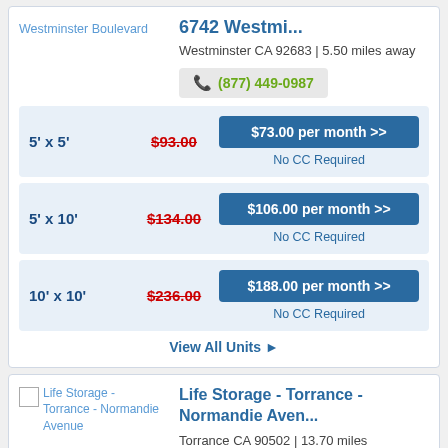Westminster Boulevard
6742 Westmi...
Westminster CA 92683 | 5.50 miles away
(877) 449-0987
5' x 5'  $93.00  $73.00 per month >>  No CC Required
5' x 10'  $134.00  $106.00 per month >>  No CC Required
10' x 10'  $236.00  $188.00 per month >>  No CC Required
View All Units ❯
[Figure (screenshot): Life Storage - Torrance - Normandie Avenue thumbnail image placeholder]
Life Storage - Torrance - Normandie Aven...
Torrance CA 90502 | 13.70 miles